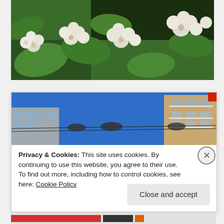[Figure (photo): Close-up macro photo of white small flowers with green leaves in the background]
[Figure (photo): Photo of urban buildings and street viewed from below against a bright blue sky, with power/telephone lines crossing the image]
Privacy & Cookies: This site uses cookies. By continuing to use this website, you agree to their use.
To find out more, including how to control cookies, see here: Cookie Policy
Close and accept